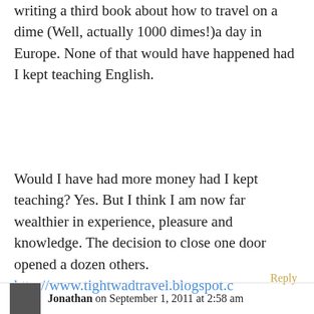writing a third book about how to travel on a dime (Well, actually 1000 dimes!)a day in Europe. None of that would have happened had I kept teaching English.
Would I have had more money had I kept teaching? Yes. But I think I am now far wealthier in experience, pleasure and knowledge. The decision to close one door opened a dozen others. http://www.tightwadtravel.blogspot.com
Reply
Jonathan on September 1, 2011 at 2:58 am